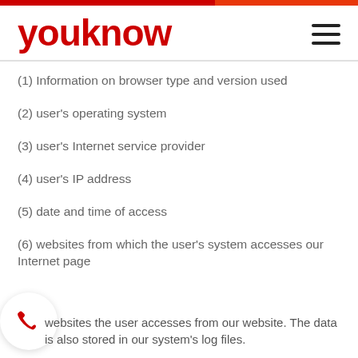youknow
(1) Information on browser type and version used
(2) user's operating system
(3) user's Internet service provider
(4) user's IP address
(5) date and time of access
(6) websites from which the user's system accesses our Internet page
websites the user accesses from our website. The data is also stored in our system's log files.